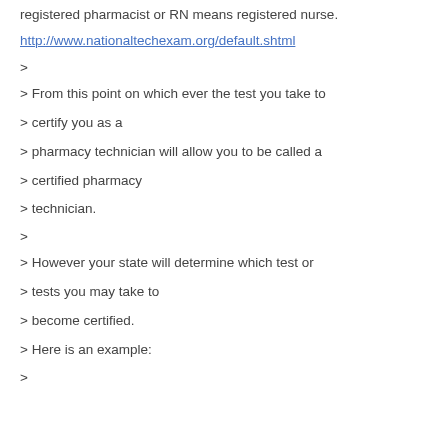registered pharmacist or RN means registered nurse.
http://www.nationaltechexam.org/default.shtml
>
> From this point on which ever the test you take to
> certify you as a
> pharmacy technician will allow you to be called a
> certified pharmacy
> technician.
>
> However your state will determine which test or
> tests you may take to
> become certified.
> Here is an example:
>